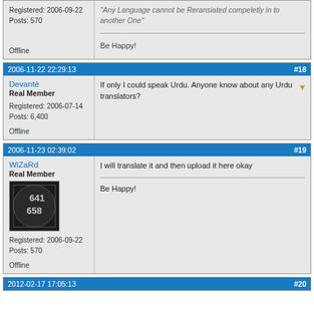Registered: 2006-09-22
Posts: 570
Offline
"Any Language cannot be Reransiated compeletly in to another One"

Be Happy!
2006-11-22 22:29:13 #18
Devantė
Real Member
Registered: 2006-07-14
Posts: 6,400
Offline
If only I could speak Urdu. Anyone know about any Urdu translators?
2006-11-23 02:39:02 #19
WiZaRd
Real Member
Registered: 2006-09-22
Posts: 570
Offline
I will translate it and then upload it here okay

Be Happy!
2012-02-17 17:05:13 #20